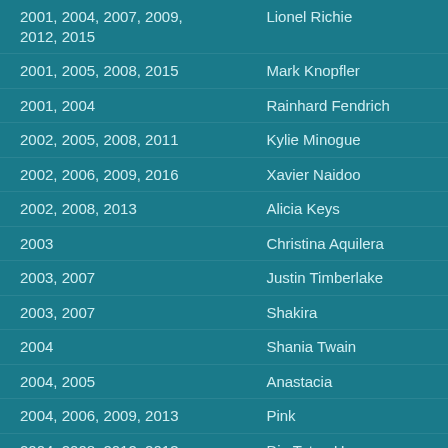| Years | Artist |
| --- | --- |
| 2001, 2004, 2007, 2009, 2012, 2015 | Lionel Richie |
| 2001, 2005, 2008, 2015 | Mark Knopfler |
| 2001, 2004 | Rainhard Fendrich |
| 2002, 2005, 2008, 2011 | Kylie Minogue |
| 2002, 2006, 2009, 2016 | Xavier Naidoo |
| 2002, 2008, 2013 | Alicia Keys |
| 2003 | Christina Aquilera |
| 2003, 2007 | Justin Timberlake |
| 2003, 2007 | Shakira |
| 2004 | Shania Twain |
| 2004, 2005 | Anastacia |
| 2004, 2006, 2009, 2013 | Pink |
| 2004, 2008, 2012, 2013 | Die Toten Hosen |
| 2004, 2007, 2014 | Sportfreunde Stiller |
| 2005 | Marius Müller-Westernhagen |
| 2006, 2011 | George Michael |
| 2006, 2009, 2013, 2016 | Placebo |